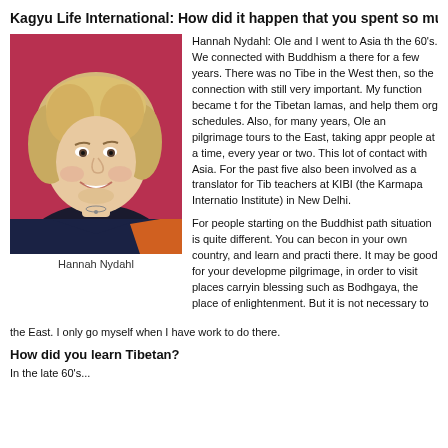Kagyu Life International: How did it happen that you spent so much time in A
[Figure (photo): Portrait photo of Hannah Nydahl, a woman with blonde hair smiling, against a red/pink background, wearing a dark top]
Hannah Nydahl
Hannah Nydahl: Ole and I went to Asia the 60's. We connected with Buddhism a there for a few years. There was no Tibe in the West then, so the connection with still very important. My function became f for the Tibetan lamas, and help them org schedules. Also, for many years, Ole an pilgrimage tours to the East, taking appr people at a time, every year or two. This lot of contact with Asia. For the past five also been involved as a translator for Tib teachers at KIBI (the Karmapa Internatio Institute) in New Delhi.
For people starting on the Buddhist path situation is quite different. You can becon in your own country, and learn and practi there. It may be good for your developme pilgrimage, in order to visit places carryin blessing such as Bodhgaya, the place of enlightenment. But it is not necessary to the East. I only go myself when I have work to do there.
How did you learn Tibetan?
In the late 60's...